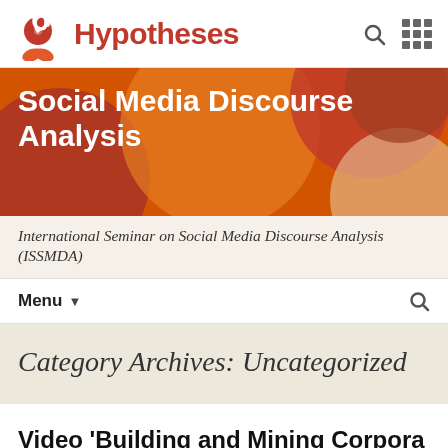Hypotheses
[Figure (logo): Hypotheses platform logo with red flower/spiral icon and bold red text 'Hypotheses']
Social Media Discourse Analysis
International Seminar on Social Media Discourse Analysis (ISSMDA)
Menu
Category Archives: Uncategorized
Video 'Building and Mining Corpora for Social Media Discourse Analysis'